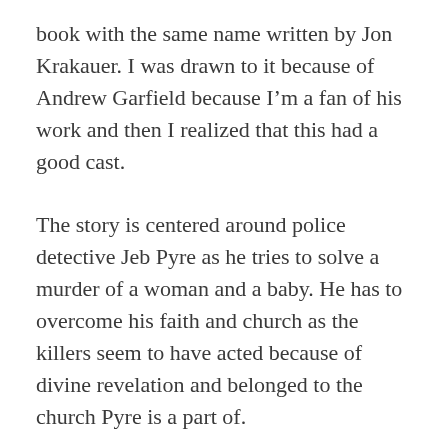book with the same name written by Jon Krakauer. I was drawn to it because of Andrew Garfield because I'm a fan of his work and then I realized that this had a good cast.
The story is centered around police detective Jeb Pyre as he tries to solve a murder of a woman and a baby. He has to overcome his faith and church as the killers seem to have acted because of divine revelation and belonged to the church Pyre is a part of.
I have to say that this was such a good series although I wanted a bit more at the end and I'll explain that later. To me is unbelievable that is based on true events. The show is intriguing in so